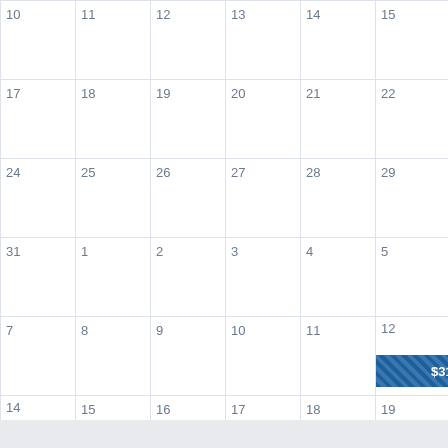| 10 | 11 | 12 | 13 | 14 | 15 | 16 |
| 17 | 18 | 19 | 20 | 21 | 22 | 23 |
| 24 | 25 | 26 | 27 | 28 | 29 | 30 |
| 31 | 1 | 2 | 3 | 4 | 5 | 6 |
| 7 | 8 | 9 | 10 | 11 | 12 ($316) | 13 |
| 14 ($316) | 15 | 16 | 17 | 18 | 19 | 20 |